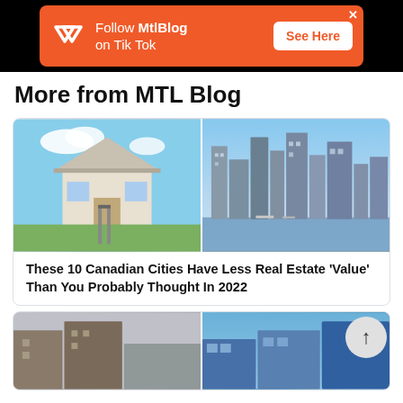[Figure (infographic): Orange advertisement banner for MtlBlog on TikTok with logo, text 'Follow MtlBlog on Tik Tok', and 'See Here' button on black background]
More from MTL Blog
[Figure (photo): Two side-by-side photos: left shows a house with a red FOR SALE sign, right shows city skyline with high-rise buildings along waterfront]
These 10 Canadian Cities Have Less Real Estate 'Value' Than You Probably Thought In 2022
[Figure (photo): Two side-by-side photos of city buildings, partially visible at bottom of page]